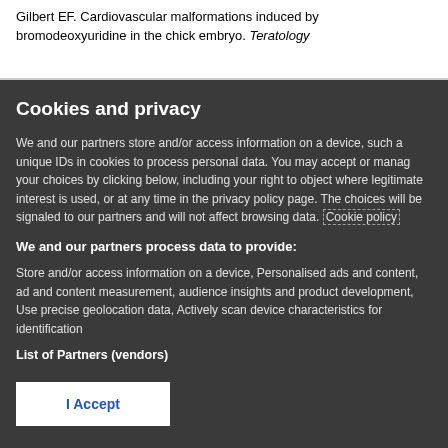Gilbert EF. Cardiovascular malformations induced by bromodeoxyuridine in the chick embryo. Teratology
Cookies and privacy
We and our partners store and/or access information on a device, such a unique IDs in cookies to process personal data. You may accept or manage your choices by clicking below, including your right to object where legitimate interest is used, or at any time in the privacy policy page. These choices will be signaled to our partners and will not affect browsing data. Cookie policy
We and our partners process data to provide:
Store and/or access information on a device, Personalised ads and content, ad and content measurement, audience insights and product development, Use precise geolocation data, Actively scan device characteristics for identification
List of Partners (vendors)
I Accept